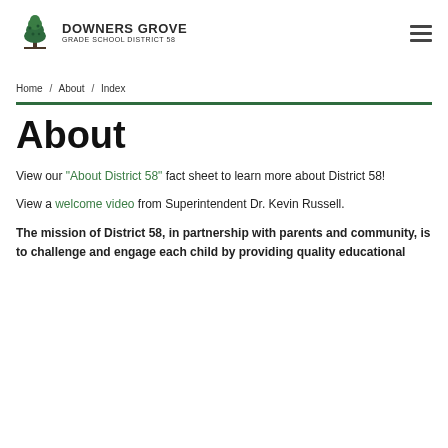Downers Grove Grade School District 58
Home / About / Index
About
View our “About District 58” fact sheet to learn more about District 58!
View a welcome video from Superintendent Dr. Kevin Russell.
The mission of District 58, in partnership with parents and community, is to challenge and engage each child by providing quality educational